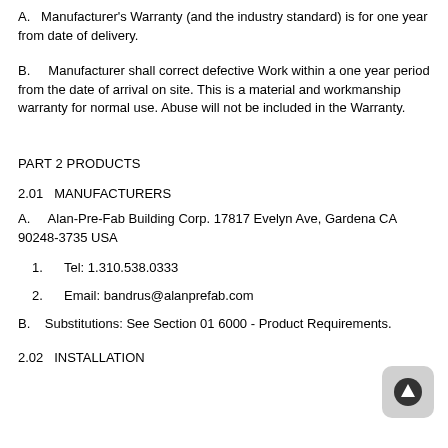A.   Manufacturer's Warranty (and the industry standard) is for one year from date of delivery.
B.    Manufacturer shall correct defective Work within a one year period from the date of arrival on site. This is a material and workmanship warranty for normal use. Abuse will not be included in the Warranty.
PART 2 PRODUCTS
2.01   MANUFACTURERS
A.    Alan-Pre-Fab Building Corp. 17817 Evelyn Ave, Gardena CA 90248-3735 USA
1.     Tel: 1.310.538.0333
2.     Email: bandrus@alanprefab.com
B.    Substitutions: See Section 01 6000 - Product Requirements.
2.02   INSTALLATION